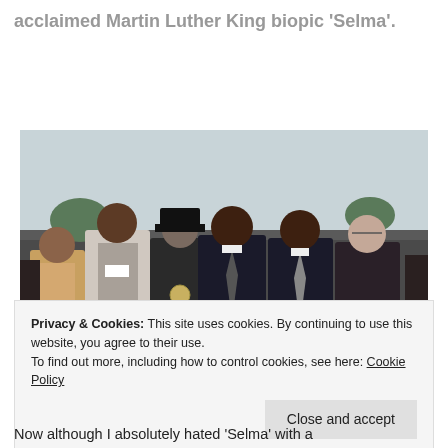acclaimed Martin Luther King biopic ‘Selma’.
[Figure (photo): Scene from the film Selma showing a group of people marching arm in arm, dressed in formal attire, with a grey overcast sky in the background.]
Privacy & Cookies: This site uses cookies. By continuing to use this website, you agree to their use.
To find out more, including how to control cookies, see here: Cookie Policy
Close and accept
Now although I absolutely hated ‘Selma’ with a